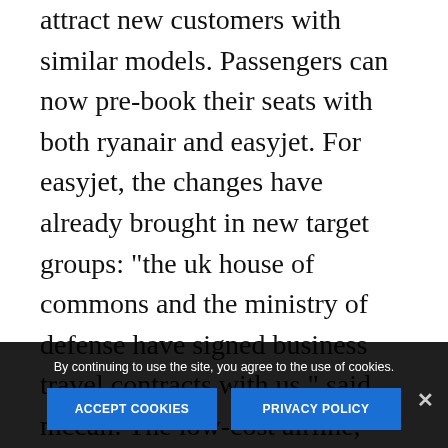attract new customers with similar models. Passengers can now pre-book their seats with both ryanair and easyjet. For easyjet, the changes have already brought in new target groups: "the uk house of commons and the ministry of defense have signed business travel contracts with us," said mccall. The low-cost airline, once notorious for devastating delays, also managed to improve its punctuality significantly.
In germany, easyjet is currently focusing in th...
By continuing to use the site, you agree to the use of cookies.